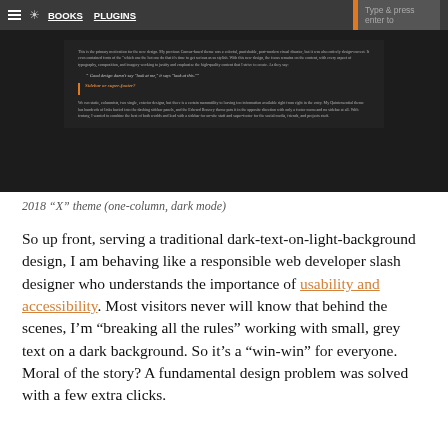BOOKS   PLUGINS   Type & press enter to
[Figure (screenshot): Screenshot of a dark-mode blog design showing text content and a subheading 'Sidebar or super-footer?']
2018 “X” theme (one-column, dark mode)
So up front, serving a traditional dark-text-on-light-background design, I am behaving like a responsible web developer slash designer who understands the importance of usability and accessibility. Most visitors never will know that behind the scenes, I’m “breaking all the rules” working with small, grey text on a dark background. So it’s a “win-win” for everyone. Moral of the story? A fundamental design problem was solved with a few extra clicks.